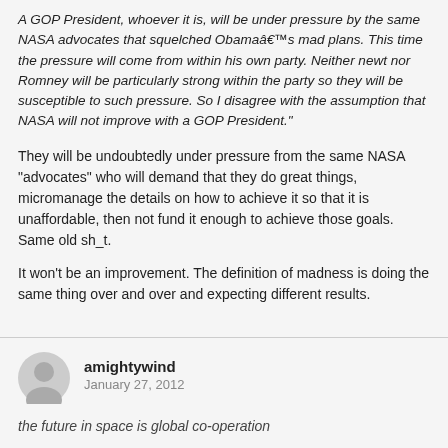A GOP President, whoever it is, will be under pressure by the same NASA advocates that squelched Obamaâ€™s mad plans. This time the pressure will come from within his own party. Neither newt nor Romney will be particularly strong within the party so they will be susceptible to such pressure. So I disagree with the assumption that NASA will not improve with a GOP President.”
They will be undoubtedly under pressure from the same NASA “advocates” who will demand that they do great things, micromanage the details on how to achieve it so that it is unaffordable, then not fund it enough to achieve those goals. Same old sh_t.
It won’t be an improvement. The definition of madness is doing the same thing over and over and expecting different results.
amightywind
January 27, 2012
the future in space is global co-operation
I don’t know. We basically have a UN outpost in the ISS, and how is that working, other than bolstering Vladimir